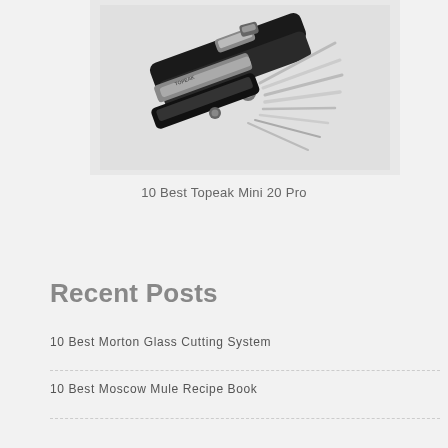[Figure (photo): Black and white photo of a Topeak Mini 20 Pro multi-tool with various hex keys and tools fanned out]
10 Best Topeak Mini 20 Pro
Recent Posts
10 Best Morton Glass Cutting System
10 Best Moscow Mule Recipe Book